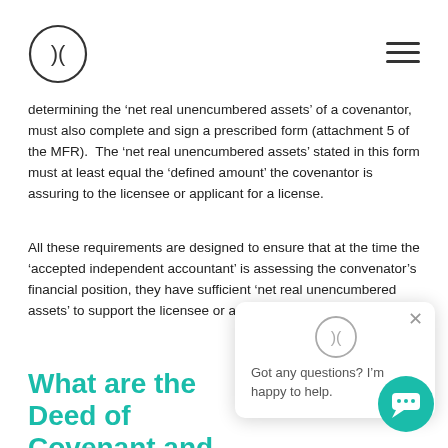[Logo: circular icon with parentheses and X symbol] [Hamburger menu icon]
determining the ‘net real unencumbered assets’ of a covenantor, must also complete and sign a prescribed form (attachment 5 of the MFR). The ‘net real unencumbered assets’ stated in this form must at least equal the ‘defined amount’ the covenantor is assuring to the licensee or applicant for a license.
All these requirements are designed to ensure that at the time the ‘accepted independent accountant’ is assessing the convenator’s financial position, they have sufficient ‘net real unencumbered assets’ to support the licensee or applicant for a license.
What are the Deed of Covenant and Assurance?